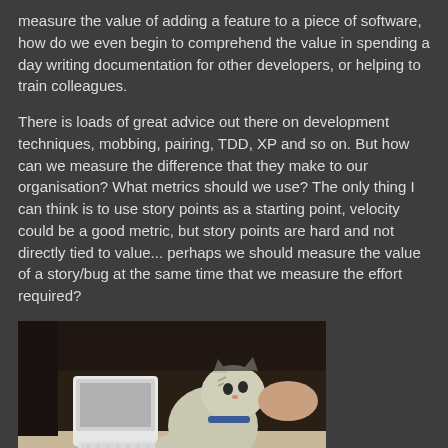measure the value of adding a feature to a piece of software, how do we even begin to comprehend the value in spending a day writing documentation for other developers, or helping to train colleagues.
There is loads of great advice out there on development techniques, mobbing, pairing, TDD, XP and so on. But how can we measure the difference that they make to our organisation? What metrics should we use? The only thing I can think is to use story points as a starting point, velocity could be a good metric, but story points are hard and not directly tied to value... perhaps we should measure the value of a story/bug at the same time that we measure the effort required?
[Figure (photo): A kitten sitting at a small white keyboard/computer setup, appearing to type on the keyboard, with a collar on, photographed on a table.]